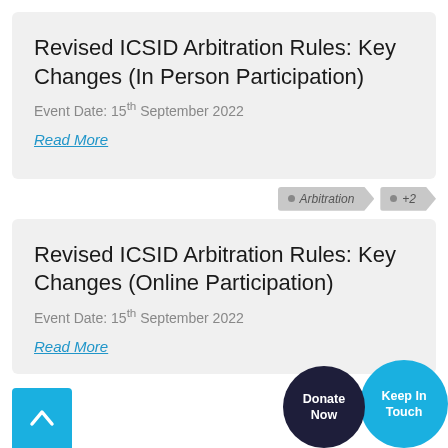Revised ICSID Arbitration Rules: Key Changes (In Person Participation)
Event Date: 15th September 2022
Read More
Arbitration  +2
Revised ICSID Arbitration Rules: Key Changes (Online Participation)
Event Date: 15th September 2022
Read More
Donate Now
Keep In Touch